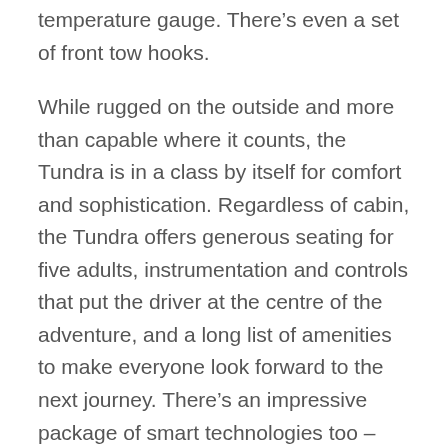temperature gauge. There’s even a set of front tow hooks.
While rugged on the outside and more than capable where it counts, the Tundra is in a class by itself for comfort and sophistication. Regardless of cabin, the Tundra offers generous seating for five adults, instrumentation and controls that put the driver at the centre of the adventure, and a long list of amenities to make everyone look forward to the next journey. There’s an impressive package of smart technologies too – headlined by Connected Services by Toyota, a suite of powerful, yet easy to use services ready to simplify everyday life. Touchscreen Display Audio systems are enhanced with Bluetooth connectivity, Apple CarPlay™ and Android Auto™ compatibility and